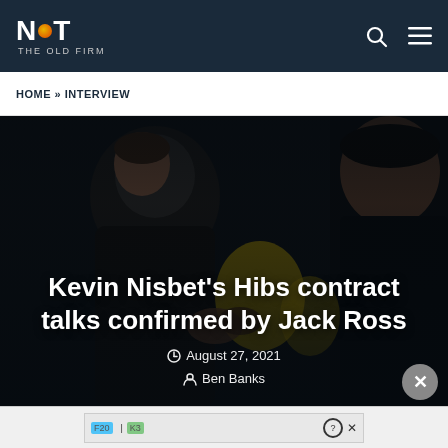NOT THE OLD FIRM
HOME » INTERVIEW
[Figure (photo): Two men in dark clothing appearing to shake hands or talk closely, dark background with blurred yellow/dark stadium setting]
Kevin Nisbet's Hibs contract talks confirmed by Jack Ross
August 27, 2021
Ben Banks